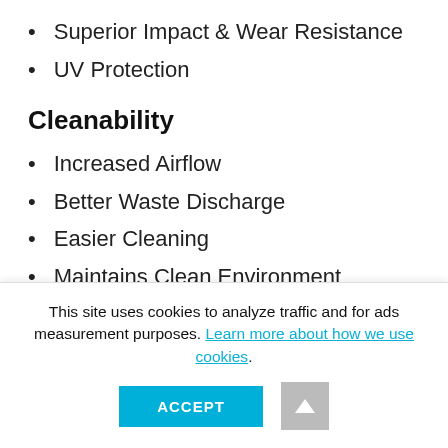Superior Impact & Wear Resistance
UV Protection
Cleanability
Increased Airflow
Better Waste Discharge
Easier Cleaning
Maintains Clean Environment
Performance
This site uses cookies to analyze traffic and for ads measurement purposes. Learn more about how we use cookies.